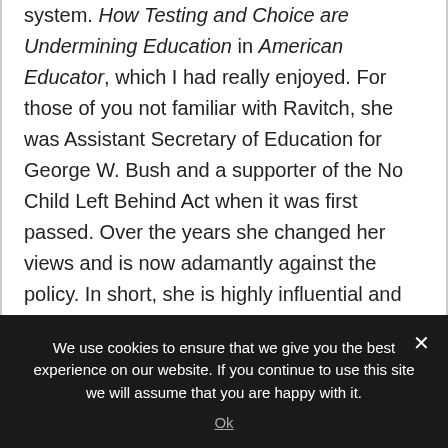system. How Testing and Choice are Undermining Education in American Educator, which I had really enjoyed. For those of you not familiar with Ravitch, she was Assistant Secretary of Education for George W. Bush and a supporter of the No Child Left Behind Act when it was first passed. Over the years she changed her views and is now adamantly against the policy. In short, she is highly influential and well-respected amongst many educators and policy makers.
Thus, seeing her name scroll by caught my eye and
We use cookies to ensure that we give you the best experience on our website. If you continue to use this site we will assume that you are happy with it.